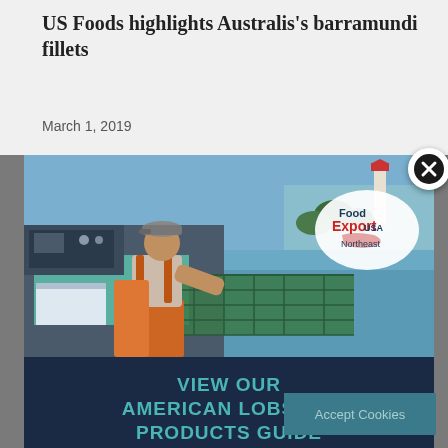US Foods highlights Australis's barramundi fillets
March 1, 2019
[Figure (photo): Person in orange overalls working with lobster traps on a boat dock, lighthouse and ocean in background. Food Export USA Northeast logo overlay in top right corner.]
VIEW OUR AMERICAN LOBSTER PRODUCTS GUIDE
PROFITABLE • SUSTAINABLE • DELICIOUS
DOWNLOAD NOW
Accept Cookies